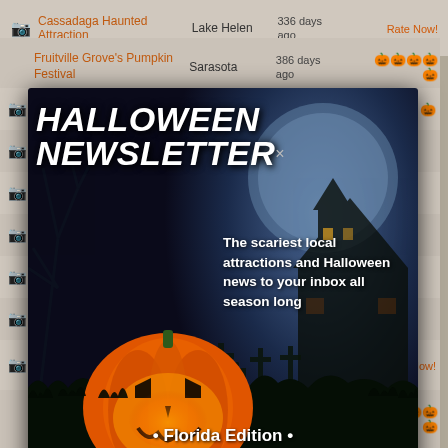|  | Name | City | Days | Rating |
| --- | --- | --- | --- | --- |
| 📷 | Cassadaga Haunted Attraction | Lake Helen | 336 days ago | Rate Now! |
|  | Fruitville Grove's Pumpkin Festival | Sarasota | 386 days ago | 🎃🎃🎃🎃🎃 |
| 📷 | Breakout Cocoa Beach | Cocoa Beach | 1756 days ago | Rate Now! |
|  | Rogers Farm Fall Festival | Gainesville | 307 days ago | 🎃🎃🎃🎃🎃 |
[Figure (screenshot): Halloween Newsletter popup modal over a listing page. Dark blue/black background with a jack-o-lantern image, haunted house silhouettes, and cemetery in background. Title reads 'HALLOWEEN NEWSLETTER' in large white italic bold text. Text reads 'The scariest local attractions and Halloween news to your inbox all season long'. Subtitle '• Florida Edition •'. Email input field with placeholder '[your email]' and an orange 'Join' button.]